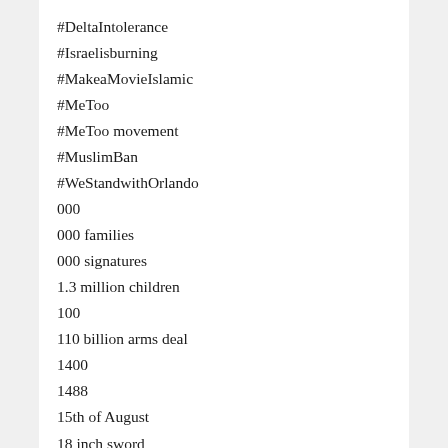#DeltaIntolerance
#Israelisburning
#MakeaMovieIslamic
#MeToo
#MeToo movement
#MuslimBan
#WeStandwithOrlando
000
000 families
000 signatures
1.3 million children
100
110 billion arms deal
1400
1488
15th of August
18 inch sword